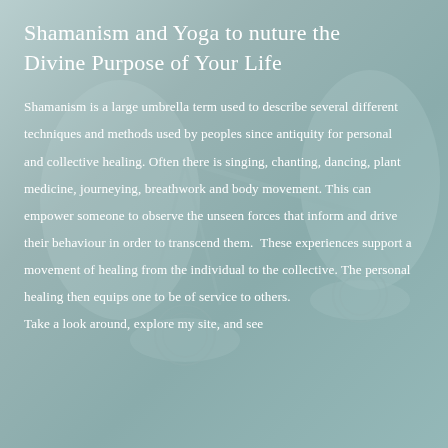[Figure (photo): Background image of hands holding a balance scale with decorative coin-like weights, teal/green-grey toned overlay, suggesting medical or scientific weighing context]
Shamanism and Yoga to nuture the Divine Purpose of Your Life
Shamanism is a large umbrella term used to describe several different techniques and methods used by peoples since antiquity for personal and collective healing. Often there is singing, chanting, dancing, plant medicine, journeying, breathwork and body movement. This can empower someone to observe the unseen forces that inform and drive their behaviour in order to transcend them.  These experiences support a movement of healing from the individual to the collective. The personal healing then equips one to be of service to others.
Take a look around, explore my site, and see